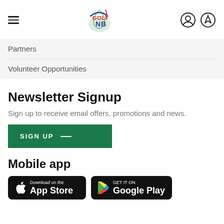Golf NB navigation header with hamburger menu, logo, user and marker icons
Partners
Volunteer Opportunities
Newsletter Signup
Sign up to receive email offers, promotions and news.
SIGN UP
Mobile app
[Figure (other): App Store and Google Play download badges]